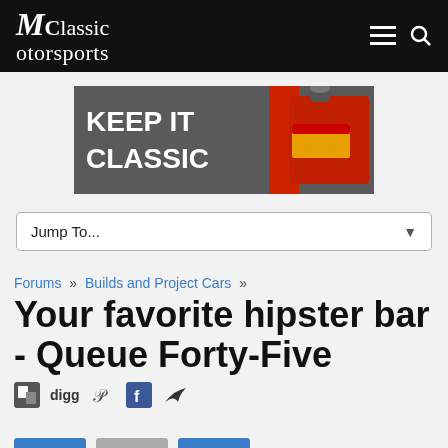Classic Motorsports
[Figure (infographic): Advertisement banner: dark gray background with 'KEEP IT CLASSIC' in large white bold text and a red shock absorber on the right side.]
Jump To...
Forums » Builds and Project Cars »
Your favorite hipster bar - Queue Forty-Five
[Figure (infographic): Social sharing icons row: share icon, digg, stumbleupon, facebook, twitter]